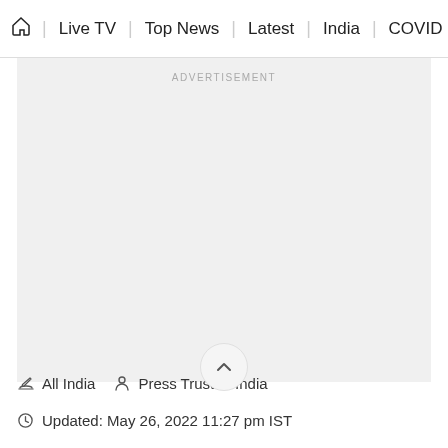🏠 | Live TV | Top News | Latest | India | COVID
[Figure (other): Advertisement placeholder area with light gray background and 'ADVERTISEMENT' label centered at top]
✎ All India  👤 Press Trust of India
🕐 Updated: May 26, 2022 11:27 pm IST